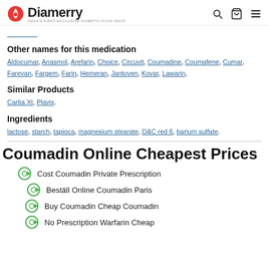Diamerry
(nav link)
Other names for this medication
Aldocumar, Anasmol, Arefarin, Choice, Circuvit, Coumadine, Coumafene, Cumar, Farevan, Fargem, Farin, Hemeran, Jantoven, Kovar, Lawarin,
Similar Products
Cartia Xt, Plavix.
Ingredients
lactose, starch, tapioca, magnesium stearate, D&C red 6, barium sulfate.
Coumadin Online Cheapest Prices
Cost Coumadin Private Prescription
Beställ Online Coumadin Paris
Buy Coumadin Cheap Coumadin
No Prescription Warfarin Cheap